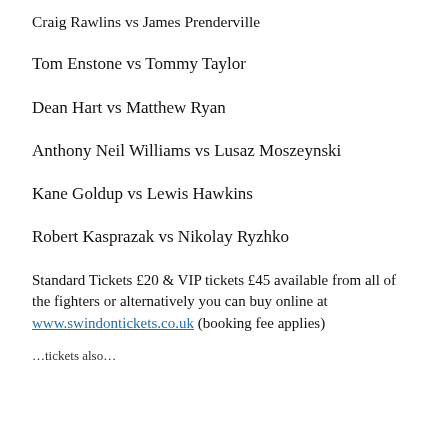Craig Rawlins vs James Prenderville
Tom Enstone vs Tommy Taylor
Dean Hart vs Matthew Ryan
Anthony Neil Williams vs Lusaz Moszeynski
Kane Goldup vs Lewis Hawkins
Robert Kasprazak vs Nikolay Ryzhko
Standard Tickets £20 & VIP tickets £45 available from all of the fighters or alternatively you can buy online at www.swindontickets.co.uk (booking fee applies)
…tickets also…